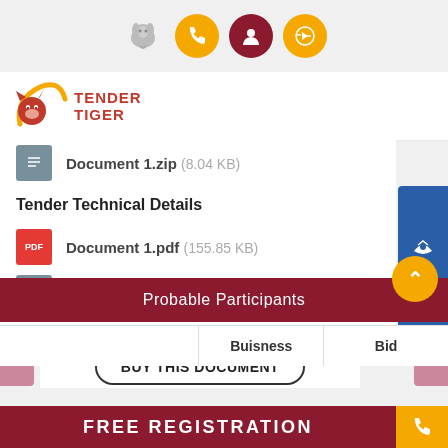[Figure (screenshot): Top navigation bar with elephant icon, phone button (orange), user button (dark red), and login arrow button (orange)]
[Figure (logo): Tender Tiger logo - red tiger with orange arc and text TENDER TIGER]
Document 1.zip (8.04 KB)
Tender Technical Details
Document 1.pdf (155.85 KB)
Document 2.zip (4.46 MB)
Download All
BUY THIS DOCUMENT
Probable Participants
|  | Buisness | Bid |
| --- | --- | --- |
FREE REGISTRATION